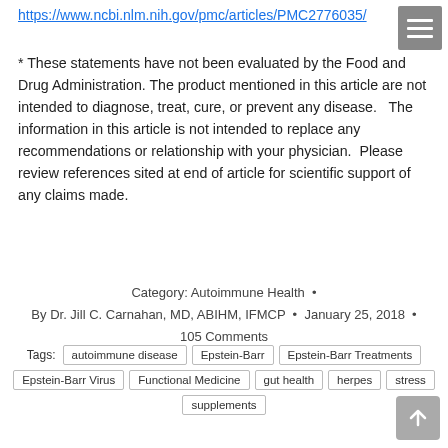https://www.ncbi.nlm.nih.gov/pmc/articles/PMC2776035/
* These statements have not been evaluated by the Food and Drug Administration. The product mentioned in this article are not intended to diagnose, treat, cure, or prevent any disease.   The information in this article is not intended to replace any recommendations or relationship with your physician.  Please review references sited at end of article for scientific support of any claims made.
Category: Autoimmune Health • By Dr. Jill C. Carnahan, MD, ABIHM, IFMCP • January 25, 2018 • 105 Comments
Tags: autoimmune disease | Epstein-Barr | Epstein-Barr Treatments | Epstein-Barr Virus | Functional Medicine | gut health | herpes | stress | supplements